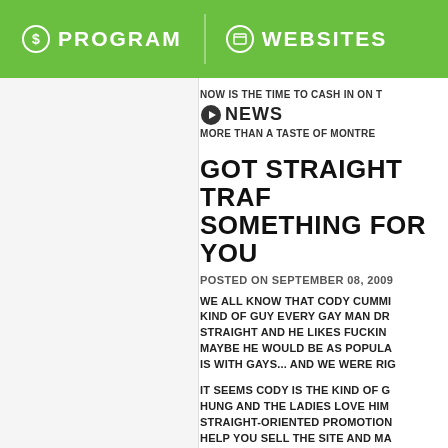PROGRAM   WEBSITES
NOW IS THE TIME TO CASH IN ON T... MORE THAN A TASTE OF MONTRE...
NEWS
GOT STRAIGHT TRAF... SOMETHING FOR YOU...
POSTED ON SEPTEMBER 08, 2009
WE ALL KNOW THAT CODY CUMMI... KIND OF GUY EVERY GAY MAN DR... STRAIGHT AND HE LIKES FUCKING... MAYBE HE WOULD BE AS POPULA... IS WITH GAYS... AND WE WERE RIG...
IT SEEMS CODY IS THE KIND OF G... HUNG AND THE LADIES LOVE HIM... STRAIGHT-ORIENTED PROMOTION... HELP YOU SELL THE SITE AND MA... AUDIENCE. THE BANNERS ARE AL... CHECK 'EM OUT!